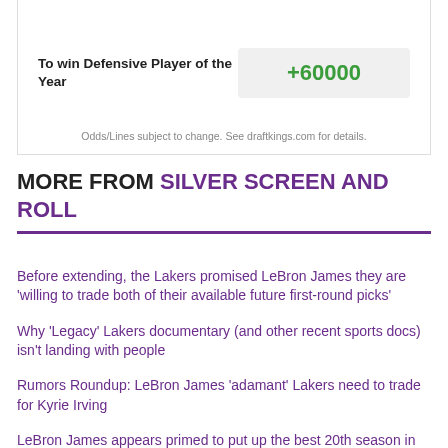| Bet | Odds |
| --- | --- |
| To win Defensive Player of the Year | +60000 |
Odds/Lines subject to change. See draftkings.com for details.
MORE FROM SILVER SCREEN AND ROLL
Before extending, the Lakers promised LeBron James they are 'willing to trade both of their available future first-round picks'
Why 'Legacy' Lakers documentary (and other recent sports docs) isn't landing with people
Rumors Roundup: LeBron James 'adamant' Lakers need to trade for Kyrie Irving
LeBron James appears primed to put up the best 20th season in NBA history